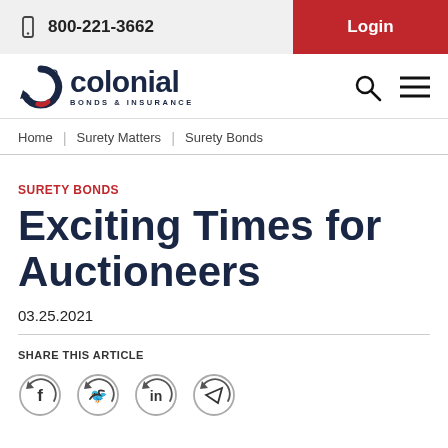800-221-3662 | Login
[Figure (logo): Colonial Surety Bonds & Insurance logo with circular arrow icon]
Home | Surety Matters | Surety Bonds
SURETY BONDS
Exciting Times for Auctioneers
03.25.2021
SHARE THIS ARTICLE